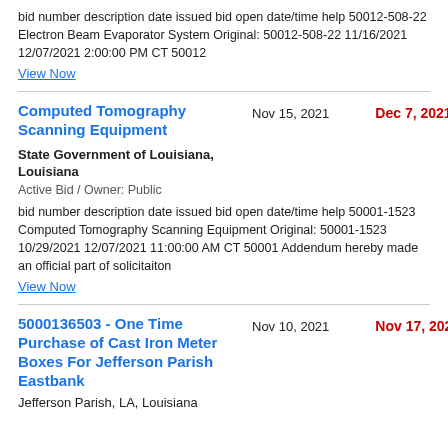bid number description date issued bid open date/time help 50012-508-22 Electron Beam Evaporator System Original: 50012-508-22 11/16/2021 12/07/2021 2:00:00 PM CT 50012
View Now
Computed Tomography Scanning Equipment
Nov 15, 2021
Dec 7, 2021
State Government of Louisiana, Louisiana
Active Bid / Owner: Public
bid number description date issued bid open date/time help 50001-1523 Computed Tomography Scanning Equipment Original: 50001-1523 10/29/2021 12/07/2021 11:00:00 AM CT 50001 Addendum hereby made an official part of solicitaiton
View Now
5000136503 - One Time Purchase of Cast Iron Meter Boxes For Jefferson Parish Eastbank
Nov 10, 2021
Nov 17, 2021
Jefferson Parish, LA, Louisiana